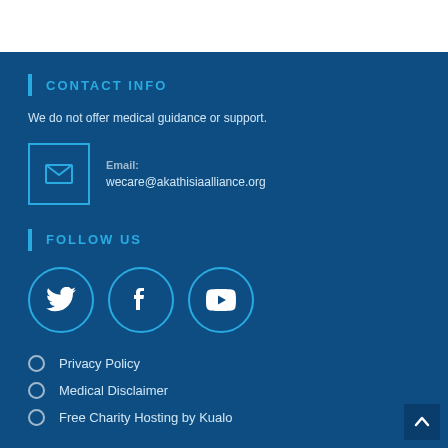CONTACT INFO
We do not offer medical guidance or support.
Email: wecare@akathisiaalliance.org
FOLLOW US
[Figure (illustration): Social media icons: Twitter, Facebook, YouTube in circular outlines]
Privacy Policy
Medical Disclaimer
Free Charity Hosting by Kualo